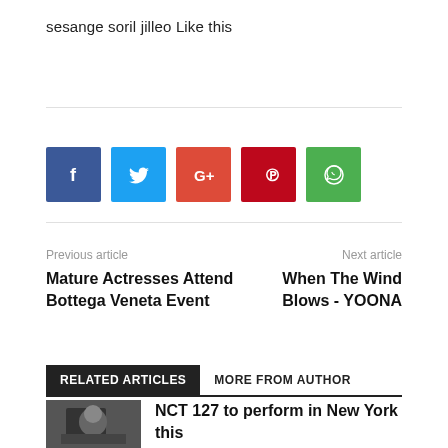sesange soril jilleo Like this
[Figure (infographic): Row of 5 social media share buttons: Facebook (blue), Twitter (light blue), Google+ (orange-red), Pinterest (red), WhatsApp (green)]
Previous article
Next article
Mature Actresses Attend Bottega Veneta Event
When The Wind Blows - YOONA
RELATED ARTICLES
MORE FROM AUTHOR
NCT 127 to perform in New York this